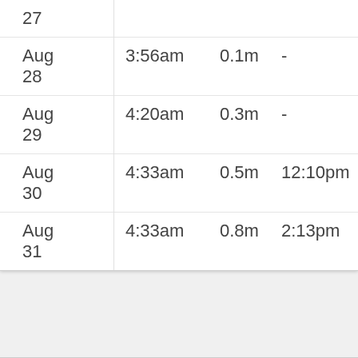| Date | Low Time | Low Height | High Time | High Height |
| --- | --- | --- | --- | --- |
| Aug 27 |  |  |  |  |
| Aug 28 | 3:56am | 0.1m | - | - |
| Aug 29 | 4:20am | 0.3m | - | - |
| Aug 30 | 4:33am | 0.5m | 12:10pm | 0.7m |
| Aug 31 | 4:33am | 0.8m | 2:13pm | 0.7m |